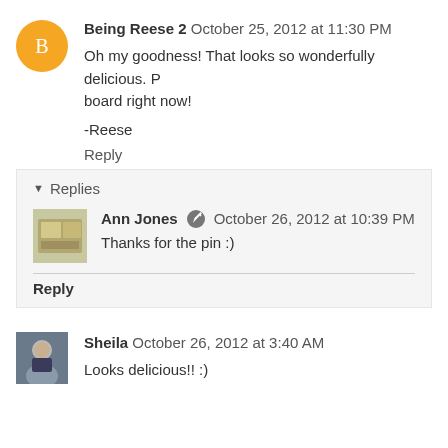Being Reese 2  October 25, 2012 at 11:30 PM
Oh my goodness! That looks so wonderfully delicious. P board right now!
-Reese
Reply
Replies
Ann Jones  October 26, 2012 at 10:39 PM
Thanks for the pin :)
Reply
Sheila  October 26, 2012 at 3:40 AM
Looks delicious!! :)